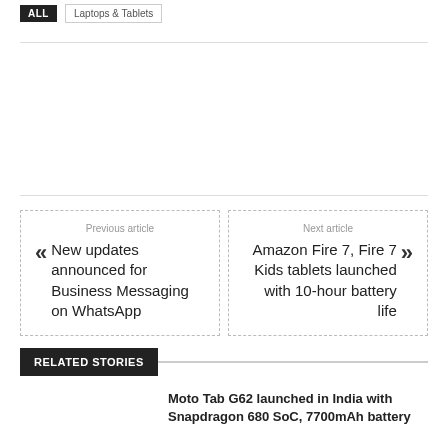ALL  Laptops & Tablets
Previous article
« New updates announced for Business Messaging on WhatsApp
Next article
Amazon Fire 7, Fire 7 Kids tablets launched with 10-hour battery life »
RELATED STORIES
Moto Tab G62 launched in India with Snapdragon 680 SoC, 7700mAh battery